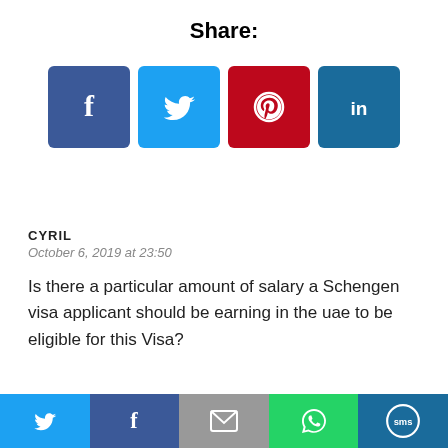Share:
[Figure (infographic): Social share buttons: Facebook (blue), Twitter (light blue), Pinterest (red), LinkedIn (dark blue)]
CYRIL
October 6, 2019 at 23:50
Is there a particular amount of salary a Schengen visa applicant should be earning in the uae to be eligible for this Visa?
[Figure (infographic): Bottom navigation bar with social/share icons: Twitter, Facebook, Email, WhatsApp, SMS]